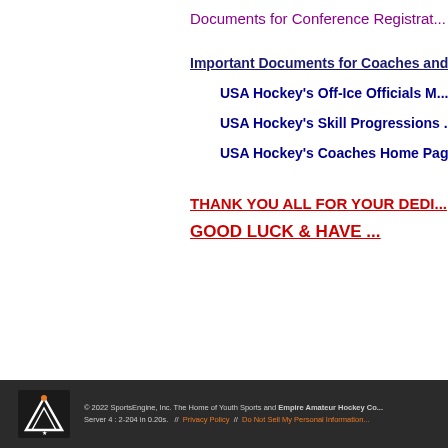Documents for Conference Registrat...
Important Documents for Coaches and...
USA Hockey's Off-Ice Officials M...
USA Hockey's Skill Progressions ...
USA Hockey's Coaches Home Pag...
THANK YOU ALL FOR YOUR DEDI...
GOOD LUCK & HAVE ...
© 2022 SportsEngine, Inc. The Home of Youth Sports and Empire Amateur Hockey Co... Server 4 : 2-204 in 0.20s.   //   Privacy Policy   //   Do Not Sell My Personal Information...